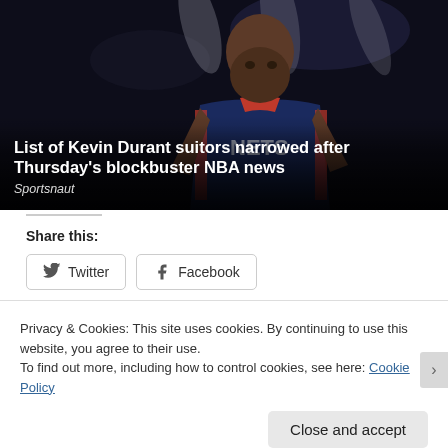[Figure (photo): Basketball player (Kevin Durant) in a Brooklyn Nets jersey standing on court, dark background. Headline text overlaid at bottom.]
List of Kevin Durant suitors narrowed after Thursday's blockbuster NBA news
Sportsnaut
Share this:
Privacy & Cookies: This site uses cookies. By continuing to use this website, you agree to their use.
To find out more, including how to control cookies, see here: Cookie Policy
Close and accept